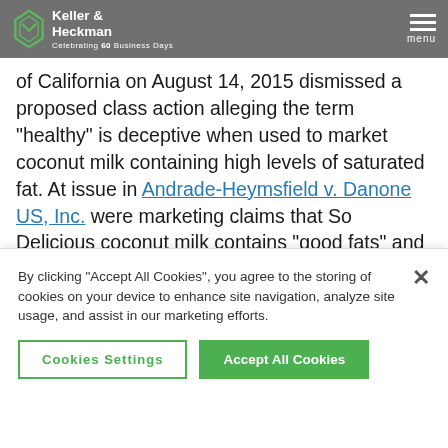Keller & Heckman | Celebrating [X] Years | Menu
of California on August 14, 2015 dismissed a proposed class action alleging the term "healthy" is deceptive when used to market coconut milk containing high levels of saturated fat.  At issue in Andrade-Heymsfield v. Danone US, Inc. were marketing claims that So Delicious coconut milk contains "good fats" and can help promote bone strength through calcium and vitamin D.  U.S. District Judge Cathy Ann Bencivengo found the advertised benefits are permitted under the Food and Drug Administration (FDA) guidelines, that the
By clicking "Accept All Cookies", you agree to the storing of cookies on your device to enhance site navigation, analyze site usage, and assist in our marketing efforts.
Cookies Settings | Accept All Cookies